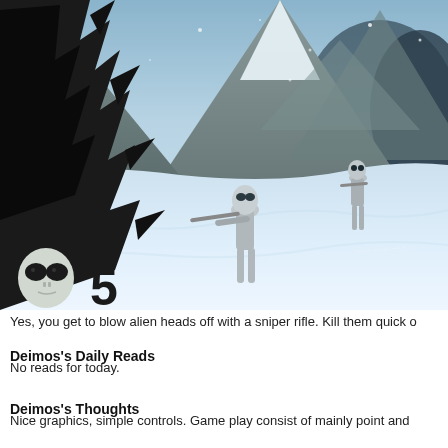[Figure (screenshot): Video game screenshot showing alien soldier figures with weapons standing on a snowy mountain landscape with dark wing/rock shapes on the left side and a HUD showing an alien head icon with the number 5]
Yes, you get to blow alien heads off with a sniper rifle. Kill them quick o
Deimos's Daily Reads
No reads for today.
Deimos's Thoughts
Nice graphics, simple controls. Game play consist of mainly point and